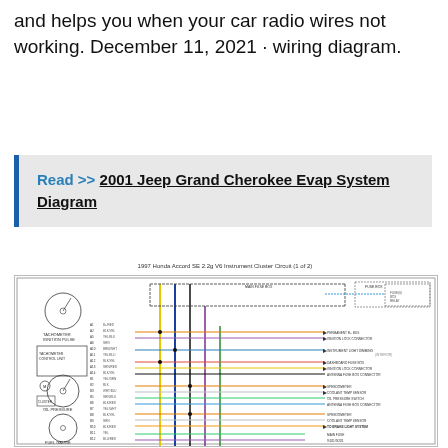and helps you when your car radio wires not working. December 11, 2021 · wiring diagram.
Read >> 2001 Jeep Grand Cherokee Evap System Diagram
[Figure (schematic): 1997 Honda Accord SE 2.2g V6 Instrument Cluster Circuit wiring diagram showing gauges, connectors, and labeled wire connections]